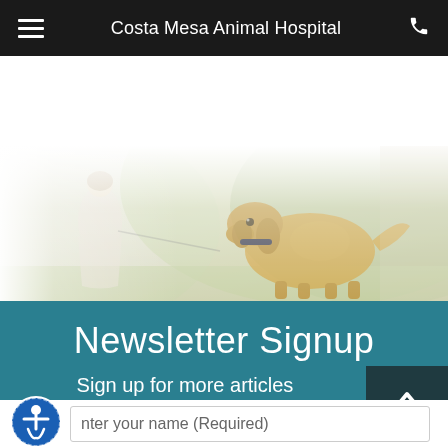Costa Mesa Animal Hospital
[Figure (photo): Woman walking a golden retriever dog on a leash outdoors in a sunny park setting, with soft bokeh green background]
Newsletter Signup
Sign up for more articles
Enter your name (Required)